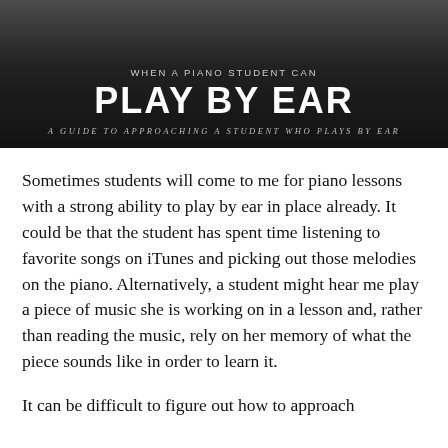[Figure (photo): Dark banner image showing a piano student, with overlaid text header for the article 'When a Piano Student Can Play By Ear']
WHEN A PIANO STUDENT CAN
PLAY BY EAR
A GUIDE TO APPROACHING A STUDENT WHO PLAYS BY EAR
Sometimes students will come to me for piano lessons with a strong ability to play by ear in place already. It could be that the student has spent time listening to favorite songs on iTunes and picking out those melodies on the piano. Alternatively, a student might hear me play a piece of music she is working on in a lesson and, rather than reading the music, rely on her memory of what the piece sounds like in order to learn it.
It can be difficult to figure out how to approach